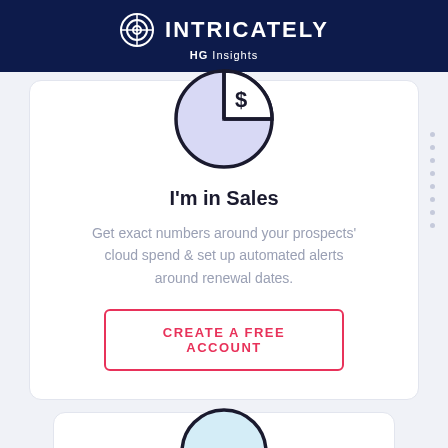INTRICATELY HG Insights
[Figure (illustration): Pie chart icon with a dollar sign, lavender fill with bold black outline]
I'm in Sales
Get exact numbers around your prospects' cloud spend & set up automated alerts around renewal dates.
CREATE A FREE ACCOUNT
[Figure (illustration): Partially visible circular icon at the bottom of the page, light blue fill with black outline]